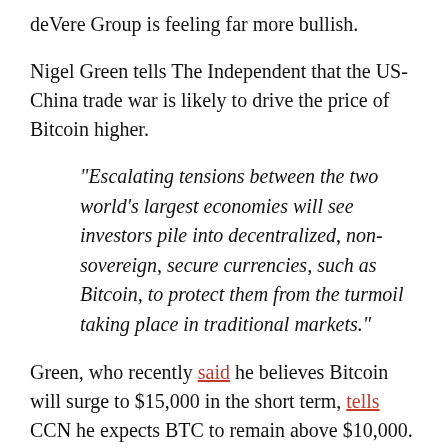deVere Group is feeling far more bullish.
Nigel Green tells The Independent that the US-China trade war is likely to drive the price of Bitcoin higher.
“Escalating tensions between the two world’s largest economies will see investors pile into decentralized, non-sovereign, secure currencies, such as Bitcoin, to protect them from the turmoil taking place in traditional markets.”
Green, who recently said he believes Bitcoin will surge to $15,000 in the short term, tells CCN he expects BTC to remain above $10,000.